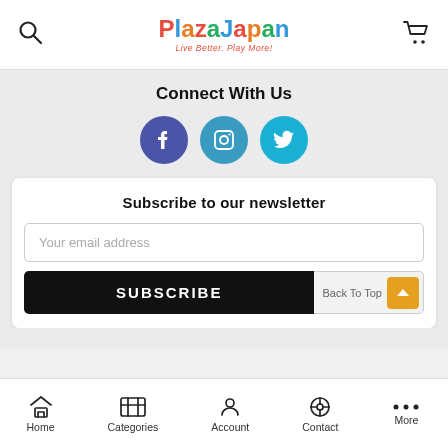Plaza Japan - Live Better. Play More!
Connect With Us
[Figure (illustration): Three social media icons in circles: Facebook (blue-purple), Instagram (teal-blue), Twitter (cyan-blue)]
Subscribe to our newsletter
Your email address
SUBSCRIBE
Back To Top
Home | Categories | Account | Contact | More